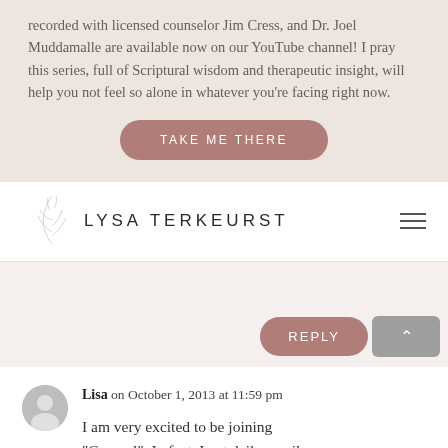recorded with licensed counselor Jim Cress, and Dr. Joel Muddamalle are available now on our YouTube channel! I pray this series, full of Scriptural wisdom and therapeutic insight, will help you not feel so alone in whatever you're facing right now.
TAKE ME THERE
LYSA TERKEURST
REPLY
Lisa on October 1, 2013 at 11:59 pm
I am very excited to be joining "Compel". In fact, I get daily email